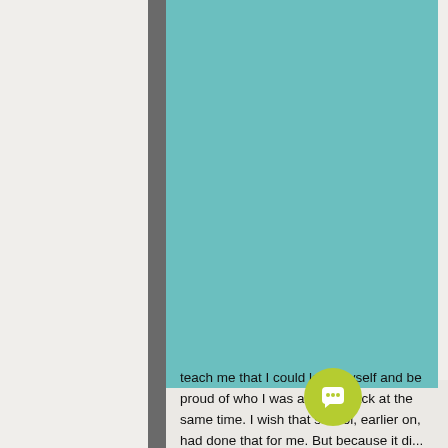[Figure (photo): Faded background photo of a campus or city scene on the right side of the page]
[Figure (illustration): Large teal/turquoise rectangle occupying the upper-center portion of the page]
teach me that I could love myself and be proud of who I was and be Black at the same time. I wish that school, earlier on, had done that for me. But because it didn't, it's what fuels me now to create spaces within schools where students who...